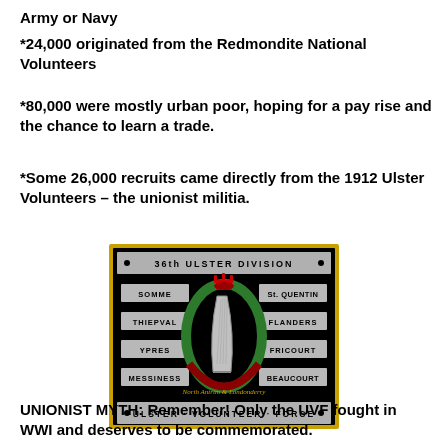Army or Navy
*24,000 originated from the Redmondite National Volunteers
*80,000 were mostly urban poor, hoping for a pay rise and the chance to learn a trade.
*Some 26,000 recruits came directly from the 1912 Ulster Volunteers – the unionist militia.
[Figure (illustration): 36th Ulster Division commemorative plaque / badge showing the Ulster Volunteer Force crest with a harp and crown, battle honours (Somme, Thiepval, Ypres, Messiness, St. Quentin, Flanders, Fricourt, Beaucourt), and the text 'North Antrim & Londonderry' and 'ULSTER · VOLUNTEER · FORCE']
UNIONIST MYTH: Remember! Only the UVF fought in WWI and deserves to be commemorated.